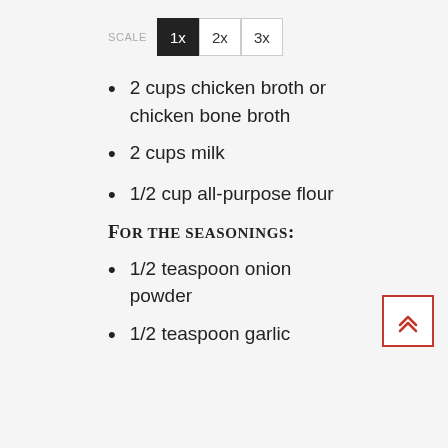[Figure (other): Scale selector buttons: SCALE label followed by three buttons: 1x (active/filled black), 2x (outline), 3x (outline)]
2 cups chicken broth or chicken bone broth
2 cups milk
1/2 cup all-purpose flour
For the seasonings:
1/2 teaspoon onion powder
1/2 teaspoon garlic
[Figure (other): Scroll-to-top button: red outlined square with a double chevron (up arrow) icon in red]